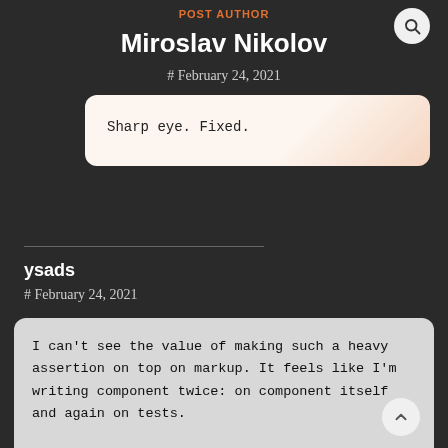POST AUTHOR
Miroslav Nikolov
# February 24, 2021
Sharp eye. Fixed.
ysads
# February 24, 2021
I can't see the value of making such a heavy assertion on top on markup. It feels like I'm writing component twice: on component itself and again on tests.

I agree that changing tags may break UI, but for that matter snapshot tests seems easier and less verbose.